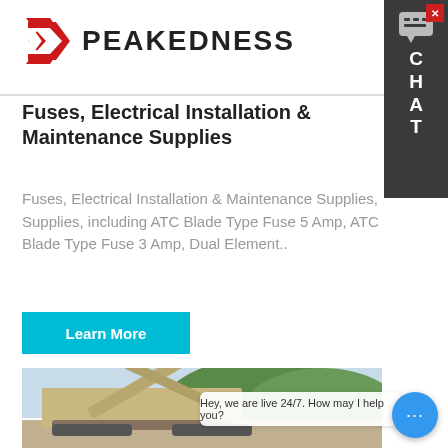[Figure (logo): Peakedness logo with red angular P arrow icon and bold black PEAKEDNESS text]
[Figure (infographic): Dark grey chat sidebar with close X button, speech bubble icon, and letters C H A T stacked vertically]
Fuses, Electrical Installation & Maintenance Supplies
Fuses, Electrical Installation & Maintenance Supplies, Supplies, including ATC Blade Type Fuse 5 Amp, ATC Blade Type Fuse 3 Amp, Dual Element..
[Figure (other): Teal/cyan Learn More button]
[Figure (photo): Industrial mobile crushing/screening machine at a quarry site with green hills in background]
Hey, we are live 24/7. How may I help you?